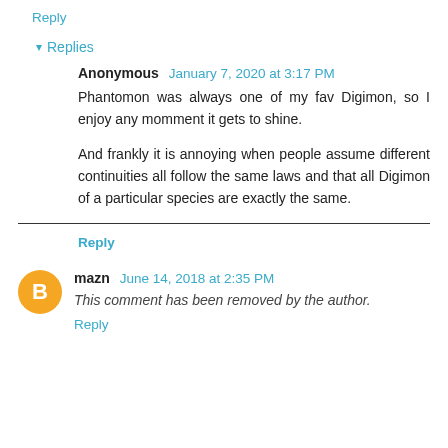Reply
▾ Replies
Anonymous January 7, 2020 at 3:17 PM
Phantomon was always one of my fav Digimon, so I enjoy any momment it gets to shine.

And frankly it is annoying when people assume different continuities all follow the same laws and that all Digimon of a particular species are exactly the same.
Reply
mazn June 14, 2018 at 2:35 PM
This comment has been removed by the author.
Reply